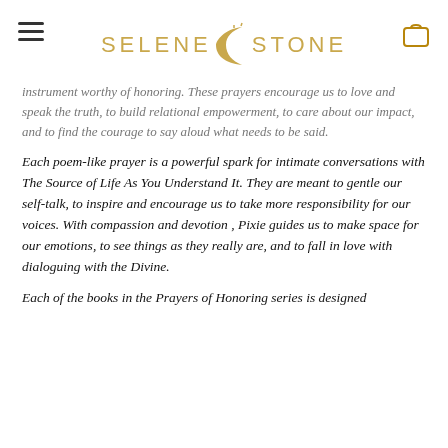SELENE STONE
instrument worthy of honoring. These prayers encourage us to love and speak the truth, to build relational empowerment, to care about our impact, and to find the courage to say aloud what needs to be said.
Each poem-like prayer is a powerful spark for intimate conversations with The Source of Life As You Understand It. They are meant to gentle our self-talk, to inspire and encourage us to take more responsibility for our voices. With compassion and devotion , Pixie guides us to make space for our emotions, to see things as they really are, and to fall in love with dialoguing with the Divine.
Each of the books in the Prayers of Honoring series is designed